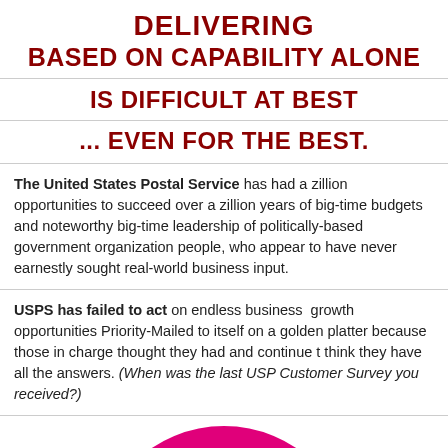DELIVERING BASED ON CAPABILITY ALONE
IS DIFFICULT AT BEST
... EVEN FOR THE BEST.
The United States Postal Service has had a zillion opportunities to succeed over a zillion years of big-time budgets and noteworthy big-time leadership of politically-based government organization people, who appear to have never earnestly sought real-world business input.
USPS has failed to act on endless business growth opportunities Priority-Mailed to itself on a golden platter because those in charge thought they had and continue to think they have all the answers. (When was the last USPS Customer Survey you received?)
[Figure (illustration): Bottom portion of a large magenta/pink circle or pie chart element, partially visible at the bottom of the page.]